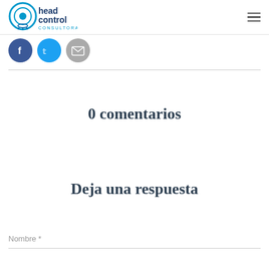head control CONSULTORA
[Figure (logo): Head Control Consultora logo with circular eye/target icon in blue and teal, with text 'head control CONSULTORA']
[Figure (illustration): Three social media circular icon buttons: Facebook (blue with f), Twitter (light blue with bird), Email/Google (grey with envelope)]
0 comentarios
Deja una respuesta
Nombre *